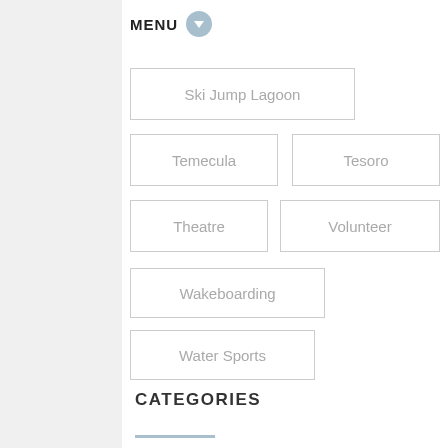MENU
Ski Jump Lagoon
Temecula
Tesoro
Theatre
Volunteer
Wakeboarding
Water Sports
Wine Country
Winery
CATEGORIES